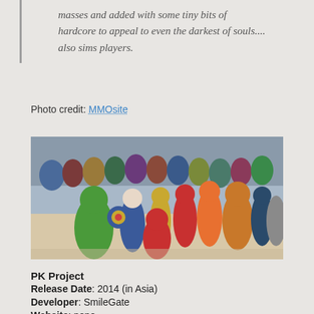masses and added with some tiny bits of hardcore to appeal to even the darkest of souls.... also sims players.
Photo credit: MMOsite
[Figure (illustration): Group illustration of Marvel superheroes including the Hulk, Captain America, Spider-Man, Iron Man, Wolverine, and many others in a crowd scene]
PK Project
Release Date: 2014 (in Asia)
Developer: SmileGate
Website: none